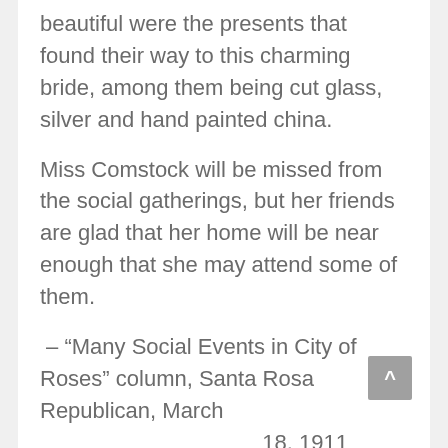beautiful were the presents that found their way to this charming bride, among them being cut glass, silver and hand painted china.
Miss Comstock will be missed from the social gatherings, but her friends are glad that her home will be near enough that she may attend some of them.
– “Many Social Events in City of Roses” column, Santa Rosa Republican, March 18, 1911
THE OPENING OF THE GIFT SHOP